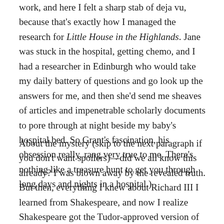work, and here I felt a sharp stab of deja vu, because that's exactly how I managed the research for Little House in the Highlands. Jane was stuck in the hospital, getting chemo, and I had a researcher in Edinburgh who would take my daily battery of questions and go look up the answers for me, and then she'd send me sheaves of articles and impenetrable scholarly documents to pore through at night beside my baby's hospital bed. So Grant's fascination, his obsession really, rang very true to me. There's nothing like a treasure hunt to get you through long days and nights in a hospital.)
About the mystery (skip to the next paragraph if you don't want spoilers)—did we all know this already? I was blown away by the revealed truth. But then, everything I knew about Richard III I learned from Shakespeare, and now I realize Shakespeare got the Tudor-approved version of the story. Not that Shakespeare was ever